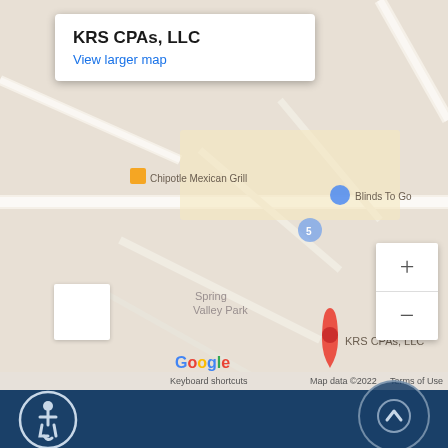[Figure (map): Google Maps screenshot showing the location of KRS CPAs, LLC in Spring Valley Park area, with nearby landmarks including Chipotle Mexican Grill, Blinds To Go, CVS, and Target. The map includes zoom controls (+/-) on the right side and a pegman icon at lower left. Google logo, 'Keyboard shortcuts', 'Map data ©2022', and 'Terms of Use' are visible at the bottom.]
KRS CPAs, LLC
View larger map
[Figure (illustration): Accessibility (wheelchair) icon in white on dark blue background, bottom left]